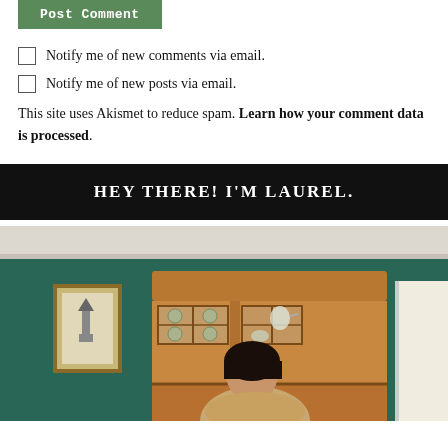Post Comment
Notify me of new comments via email.
Notify me of new posts via email.
This site uses Akismet to reduce spam. Learn how your comment data is processed.
HEY THERE! I'M LAUREL.
[Figure (photo): Photo of a woman with dark hair in front of a teal/dark green wall, standing near a wooden hutch/china cabinet filled with dishes and plates. A framed artwork hangs on the wall to the left.]